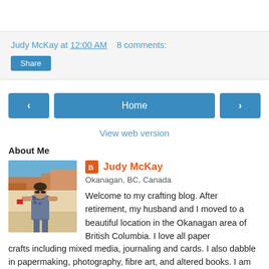Judy McKay at 12:00 AM   8 comments:
Share
‹
Home
›
View web version
About Me
[Figure (photo): Profile photo of Judy McKay outdoors in a scenic rocky landscape, wearing a patterned sleeveless top]
Judy McKay
Okanagan, BC, Canada
Welcome to my crafting blog. After retirement, my husband and I moved to a beautiful location in the Okanagan area of British Columbia. I love all paper crafts including mixed media, journaling and cards. I also dabble in papermaking, photography, fibre art, and altered books. I am an active member of several card and mixed media groups and on the